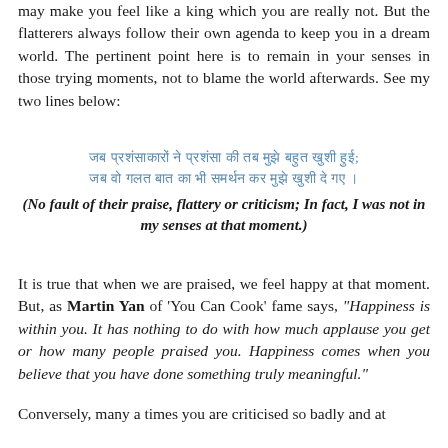may make you feel like a king which you are really not. But the flatterers always follow their own agenda to keep you in a dream world. The pertinent point here is to remain in your senses in those trying moments, not to blame the world afterwards. See my two lines below:
[Hindi verse lines in Devanagari script]
(No fault of their praise, flattery or criticism; In fact, I was not in my senses at that moment.)
It is true that when we are praised, we feel happy at that moment. But, as Martin Yan of 'You Can Cook' fame says, "Happiness is within you. It has nothing to do with how much applause you get or how many people praised you. Happiness comes when you believe that you have done something truly meaningful."
Conversely, many a times you are criticised so badly and at the moment...